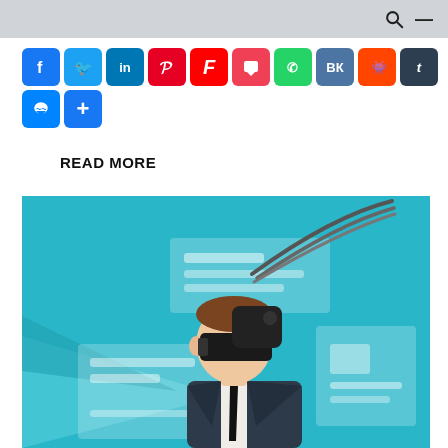[Figure (screenshot): Social media share buttons row: Facebook, Twitter, LinkedIn, Pinterest, Flipboard, Pocket, WhatsApp, VK, Reddit, Tumblr, Messenger, Share]
READ MORE
[Figure (illustration): Illustration of a businessman in a suit wearing VR/AR headset with cables connected to his head, surrounded by floating UI panels, on a teal background]